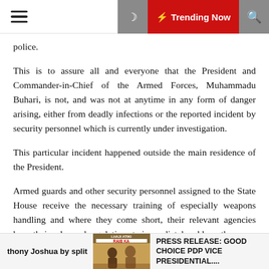☰  ☽  ⚡ Trending Now  🔍
police.
This is to assure all and everyone that the President and Commander-in-Chief of the Armed Forces, Muhammadu Buhari, is not, and was not at anytime in any form of danger arising, either from deadly infections or the reported incident by security personnel which is currently under investigation.
This particular incident happened outside the main residence of the President.
Armed guards and other security personnel assigned to the State House receive the necessary training of especially weapons handling and where they come short, their relevant agencies have their rules and regulations to immediately address them.
thony Joshua by split   LHAJI ATIKI / RAIB KA   PRESS RELEASE: GOOD CHOICE PDP VICE PRESIDENTIAL....